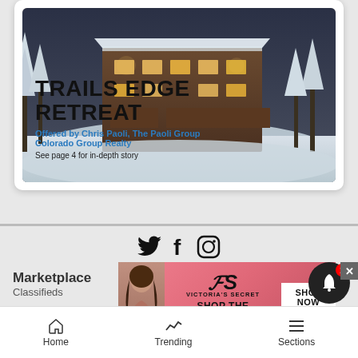[Figure (photo): Aerial winter photo of a luxury mountain retreat (Trails Edge Retreat) surrounded by snow-covered trees, with text overlay showing property name, agent info, and page reference]
TRAILS EDGE RETREAT
Offered by Chris Paoli, The Paoli Group Colorado Group Realty
See page 4 for in-depth story
[Figure (infographic): Social media icons: Twitter bird, Facebook f, Instagram camera]
Marketplace
Classifieds
[Figure (photo): Victoria's Secret advertisement banner: model photo, VS logo, SHOP THE COLLECTION text, SHOP NOW button]
Home   Trending   Sections